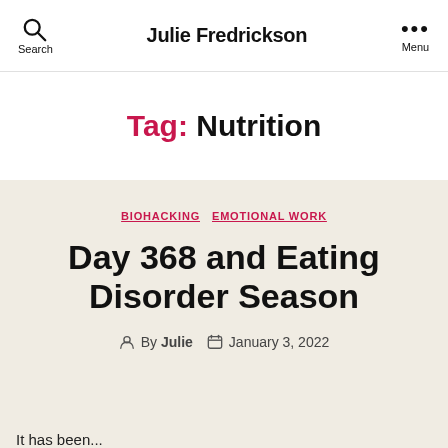Julie Fredrickson
Tag: Nutrition
BIOHACKING  EMOTIONAL WORK
Day 368 and Eating Disorder Season
By Julie   January 3, 2022
It has been...